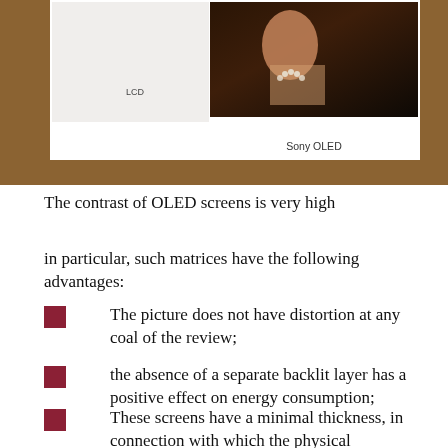[Figure (photo): Comparison image of LCD vs Sony OLED display showing a woman in vintage attire. The LCD portion shows a white/blank area labeled 'LCD', while the Sony OLED portion shows a richly colored image labeled 'Sony OLED'. The photo is set against a brown/tan background.]
The contrast of OLED screens is very high
in particular, such matrices have the following advantages:
The picture does not have distortion at any coal of the review;
the absence of a separate backlit layer has a positive effect on energy consumption;
These screens have a minimal thickness, in connection with which the physical dimensions of the end device are reduced;
The contrast is almost perfect, because when the black color is displayed, the backlight actually completely goes